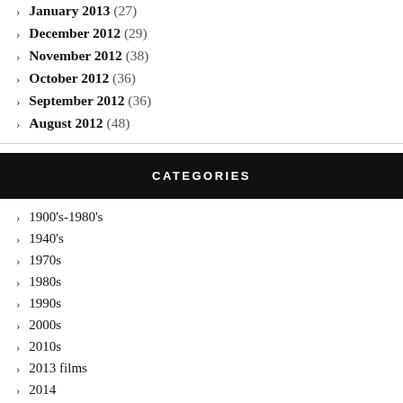January 2013 (27)
December 2012 (29)
November 2012 (38)
October 2012 (36)
September 2012 (36)
August 2012 (48)
CATEGORIES
1900's-1980's
1940's
1970s
1980s
1990s
2000s
2010s
2013 films
2014
2015